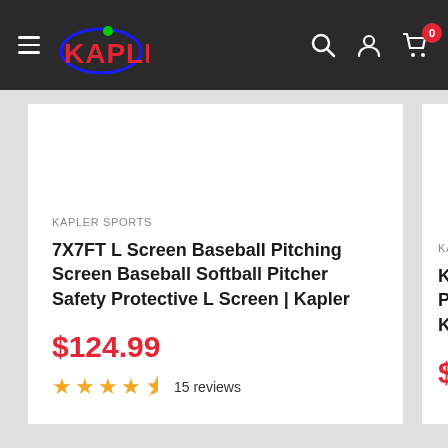Kapler Sports — navigation header with hamburger menu, logo, search, account, and cart icons
KAPLER SPORTS
7X7FT L Screen Baseball Pitching Screen Baseball Softball Pitcher Safety Protective L Screen | Kapler
$124.99
4.5 stars — 15 reviews
KAPLER SPORT
Kapler Z Fram Protective in Kapler
$137.99